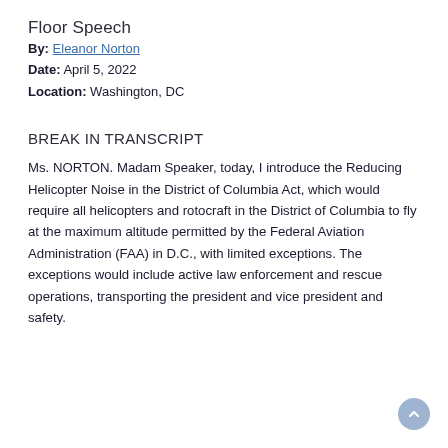Floor Speech
By: Eleanor Norton
Date: April 5, 2022
Location: Washington, DC
BREAK IN TRANSCRIPT
Ms. NORTON. Madam Speaker, today, I introduce the Reducing Helicopter Noise in the District of Columbia Act, which would require all helicopters and rotocraft in the District of Columbia to fly at the maximum altitude permitted by the Federal Aviation Administration (FAA) in D.C., with limited exceptions. The exceptions would include active law enforcement and rescue operations, transporting the president and vice president and safety.